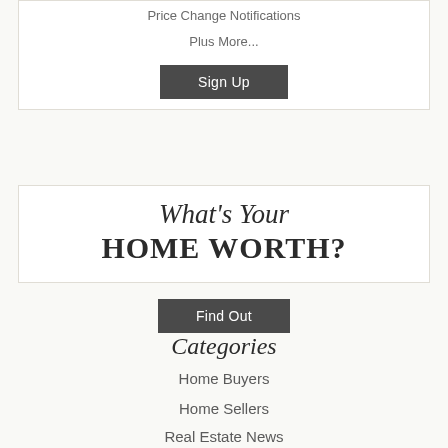Price Change Notifications
Plus More...
Sign Up
What's Your HOME WORTH?
Find Out
Categories
Home Buyers
Home Sellers
Real Estate News